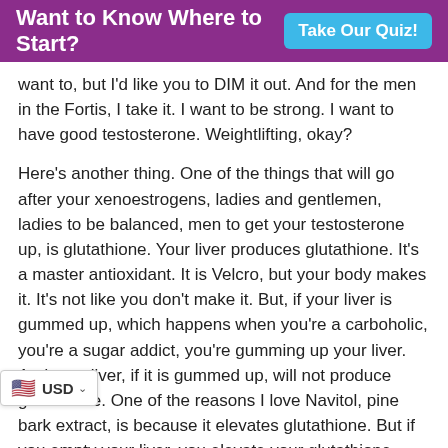Want to Know Where to Start?   Take Our Quiz!
want to, but I'd like you to DIM it out. And for the men in the Fortis, I take it. I want to be strong. I want to have good testosterone. Weightlifting, okay?
Here's another thing. One of the things that will go after your xenoestrogens, ladies and gentlemen, ladies to be balanced, men to get your testosterone up, is glutathione. Your liver produces glutathione. It's a master antioxidant. It is Velcro, but your body makes it. It's not like you don't make it. But, if your liver is gummed up, which happens when you're a carboholic, you're a sugar addict, you're gumming up your liver. And your liver, if it is gummed up, will not produce glutathione. One of the reasons I love Navitol, pine bark extract, is because it elevates glutathione. But if you empty your liver, you elevate your glutathione. Velcro that picks up that extra xenoestrogens iting in your body. Your liver is your detox organ. One of the reasons I want you to empty it. Okay?